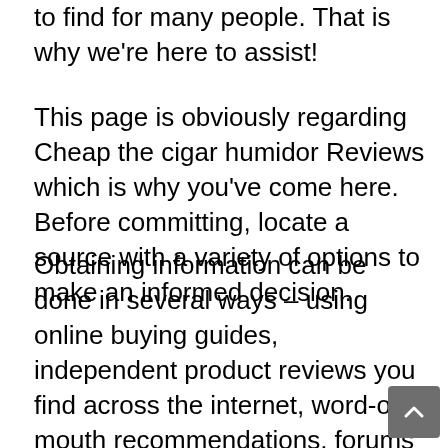to find for many people. That is why we're here to assist!
This page is obviously regarding Cheap the cigar humidor Reviews which is why you've come here. Before committing, locate a source with a variety of options to make an informed decision.
Obtaining information can be done in several ways – using online buying guides, independent product reviews you find across the internet, word-of-mouth recommendations, forums where users share their experiences, and even YouTube channels. It is only through thorough research that one can come across the